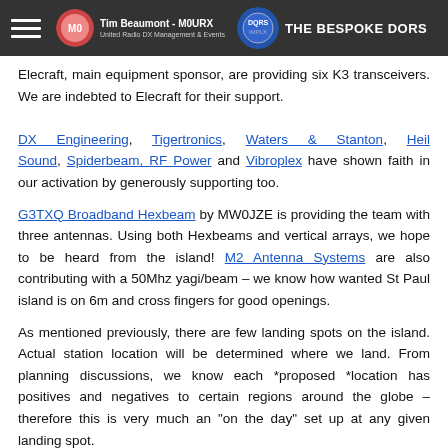Tim Beaumont - M0URX | THE BESPOKE DORS
Elecraft, main equipment sponsor, are providing six K3 transceivers. We are indebted to Elecraft for their support. DX Engineering, Tigertronics, Waters & Stanton, Heil Sound, Spiderbeam, RF Power and Vibroplex have shown faith in our activation by generously supporting too.
G3TXQ Broadband Hexbeam by MW0JZE is providing the team with three antennas. Using both Hexbeams and vertical arrays, we hope to be heard from the island! M2 Antenna Systems are also contributing with a 50Mhz yagi/beam – we know how wanted St Paul island is on 6m and cross fingers for good openings.
As mentioned previously, there are few landing spots on the island. Actual station location will be determined where we land. From planning discussions, we know each *proposed *location has positives and negatives to certain regions around the globe – therefore this is very much an "on the day" set up at any given landing spot.